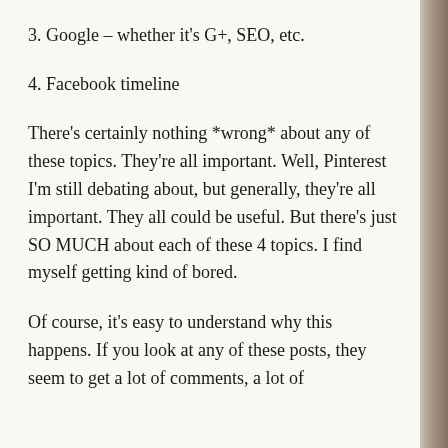3. Google – whether it's G+, SEO, etc.
4. Facebook timeline
There's certainly nothing *wrong* about any of these topics. They're all important. Well, Pinterest I'm still debating about, but generally, they're all important. They all could be useful. But there's just SO MUCH about each of these 4 topics. I find myself getting kind of bored.
Of course, it's easy to understand why this happens. If you look at any of these posts, they seem to get a lot of comments, a lot of